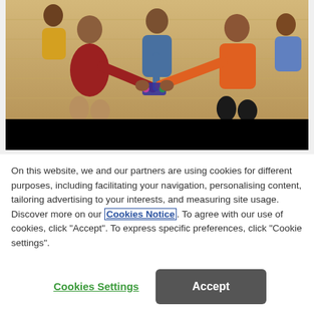[Figure (photo): A group of young people sitting together, appearing to share or play with something, with a wooden wall background. Lower portion shows a black bar (video player controls area).]
On this website, we and our partners are using cookies for different purposes, including facilitating your navigation, personalising content, tailoring advertising to your interests, and measuring site usage. Discover more on our Cookies Notice. To agree with our use of cookies, click "Accept". To express specific preferences, click "Cookie settings".
Cookies Settings
Accept